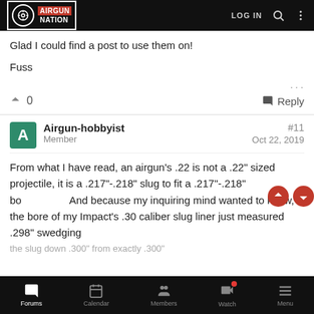AIRGUN NATION | LOG IN
Glad I could find a post to use them on!
Fuss
0   Reply
Airgun-hobbyist  Member  #11  Oct 22, 2019
From what I have read, an airgun's .22 is not a .22" sized projectile, it is a .217"-.218" slug to fit a .217"-.218" bore. And because my inquiring mind wanted to know, the bore of my Impact's .30 caliber slug liner just measured .298" swedging the slug down .300" from exactly .300"
Forums  Calendar  Members  Watch  Menu